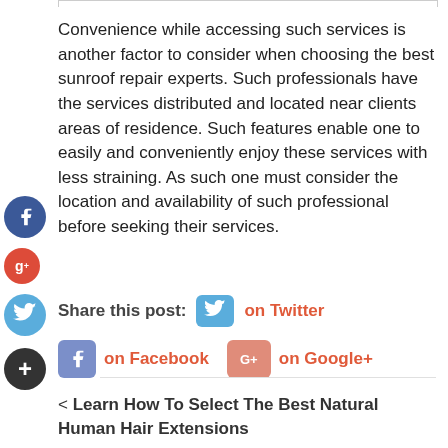Convenience while accessing such services is another factor to consider when choosing the best sunroof repair experts. Such professionals have the services distributed and located near clients areas of residence. Such features enable one to easily and conveniently enjoy these services with less straining. As such one must consider the location and availability of such professional before seeking their services.
Share this post:   on Twitter   on Facebook   on Google+
< Learn How To Select The Best Natural Human Hair Extensions